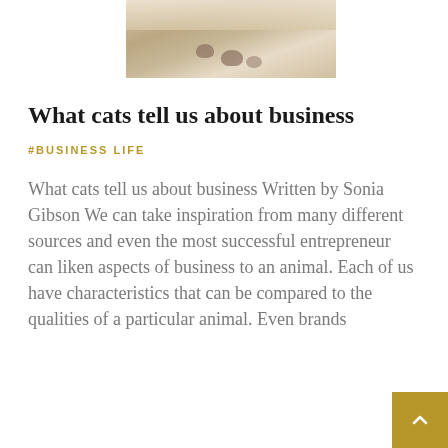[Figure (photo): Close-up photo of a cat showing paws/fur, partially cropped at top of page]
What cats tell us about business
#BUSINESS LIFE
What cats tell us about business Written by Sonia Gibson We can take inspiration from many different sources and even the most successful entrepreneur can liken aspects of business to an animal. Each of us have characteristics that can be compared to the qualities of a particular animal. Even brands